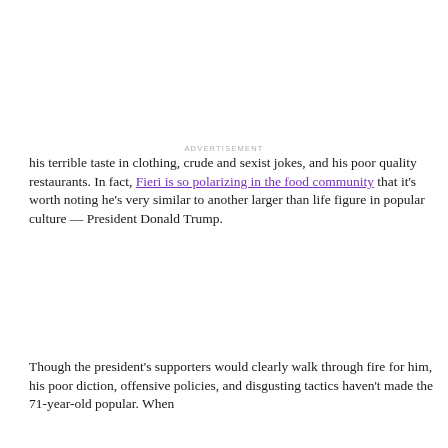ADVERTISEMENT
his terrible taste in clothing, crude and sexist jokes, and his poor quality restaurants. In fact, Fieri is so polarizing in the food community that it's worth noting he's very similar to another larger than life figure in popular culture — President Donald Trump.
Though the president's supporters would clearly walk through fire for him, his poor diction, offensive policies, and disgusting tactics haven't made the 71-year-old popular. When